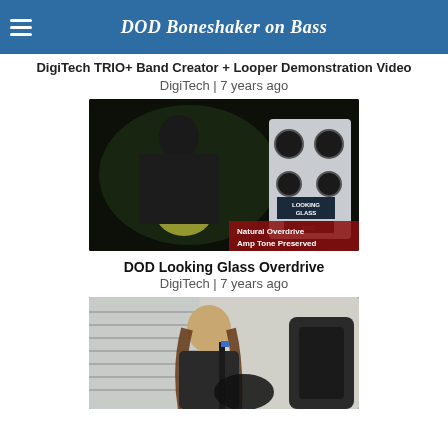DOD Boneshaker on Bass
DigiTech TRIO+ Band Creator + Looper Demonstration Video
DigiTech | 7 years ago
[Figure (screenshot): Video thumbnail showing a guitarist playing a yellow Stratocaster-style guitar in a dark studio, with a DOD Looking Glass Overdrive guitar pedal shown on the right side. Red overlay text reads 'Natural Overdrive Amp Tone Preserved'.]
DOD Looking Glass Overdrive
DigiTech | 7 years ago
[Figure (screenshot): Video thumbnail showing a person with long hair playing a dark electric guitar, seated in a room with blinds visible in the background.]